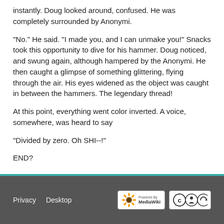instantly. Doug looked around, confused. He was completely surrounded by Anonymi.
"No." He said. "I made you, and I can unmake you!" Snacks took this opportunity to dive for his hammer. Doug noticed, and swung again, although hampered by the Anonymi. He then caught a glimpse of something glittering, flying through the air. His eyes widened as the object was caught in between the hammers. The legendary thread!
At this point, everything went color inverted. A voice, somewhere, was heard to say
"Divided by zero. Oh SHI--!"
END?
Privacy  Desktop  [Powered by MediaWiki] [CC BY SA]